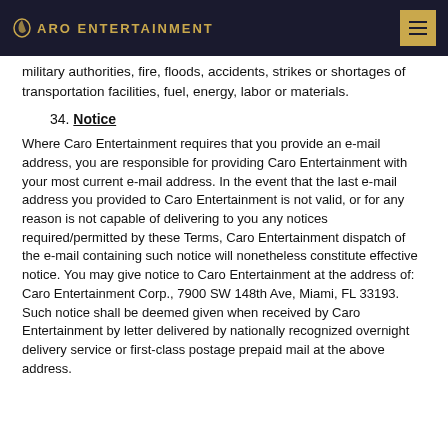CARO ENTERTAINMENT
military authorities, fire, floods, accidents, strikes or shortages of transportation facilities, fuel, energy, labor or materials.
34. Notice
Where Caro Entertainment requires that you provide an e-mail address, you are responsible for providing Caro Entertainment with your most current e-mail address. In the event that the last e-mail address you provided to Caro Entertainment is not valid, or for any reason is not capable of delivering to you any notices required/permitted by these Terms, Caro Entertainment dispatch of the e-mail containing such notice will nonetheless constitute effective notice. You may give notice to Caro Entertainment at the address of: Caro Entertainment Corp., 7900 SW 148th Ave, Miami, FL 33193. Such notice shall be deemed given when received by Caro Entertainment by letter delivered by nationally recognized overnight delivery service or first-class postage prepaid mail at the above address.